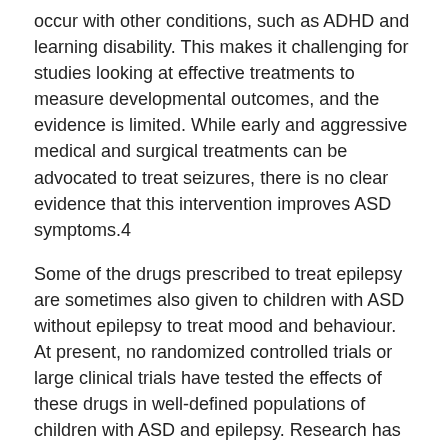occur with other conditions, such as ADHD and learning disability. This makes it challenging for studies looking at effective treatments to measure developmental outcomes, and the evidence is limited. While early and aggressive medical and surgical treatments can be advocated to treat seizures, there is no clear evidence that this intervention improves ASD symptoms.4
Some of the drugs prescribed to treat epilepsy are sometimes also given to children with ASD without epilepsy to treat mood and behaviour. At present, no randomized controlled trials or large clinical trials have tested the effects of these drugs in well-defined populations of children with ASD and epilepsy. Research has begun to look at developing medication which could target both conditions, including trials with mice, but there is currently no definitive evidence for a clinical intervention for individuals with both ASD and epilepsy. 4 It is important to note that even if specific therapies become available, a combined comprehensive treatment approach designed to suit each individual is likely to be recommended.
The National Autistic Society has a useful information guide that